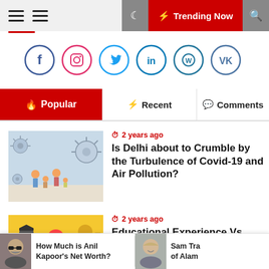Trending Now
[Figure (other): Social media icons row: Facebook, Instagram, Twitter, LinkedIn, WordPress, VK]
Popular | Recent | Comments
2 years ago
Is Delhi about to Crumble by the Turbulence of Covid-19 and Air Pollution?
2 years ago
Educational Experience Vs
How Much is Anil Kapoor's Net Worth? | Sam Tra of Alam